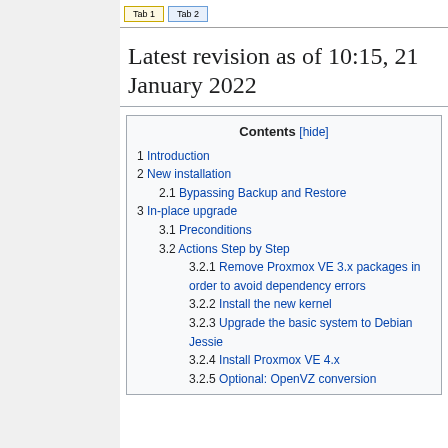Latest revision as of 10:15, 21 January 2022
| Contents [hide] |
| --- |
| 1 Introduction |
| 2 New installation |
| 2.1 Bypassing Backup and Restore |
| 3 In-place upgrade |
| 3.1 Preconditions |
| 3.2 Actions Step by Step |
| 3.2.1 Remove Proxmox VE 3.x packages in order to avoid dependency errors |
| 3.2.2 Install the new kernel |
| 3.2.3 Upgrade the basic system to Debian Jessie |
| 3.2.4 Install Proxmox VE 4.x |
| 3.2.5 Optional: OpenVZ conversion |